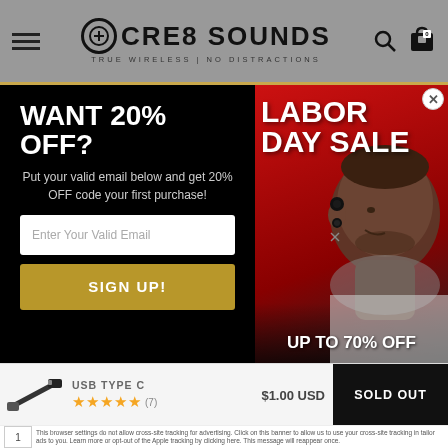CRE8 SOUNDS — TRUE WIRELESS | NO DISTRACTIONS
WANT 20% OFF?
Put your valid email below and get 20% OFF code your first purchase!
[Figure (screenshot): Email sign-up input field with placeholder 'Enter Your Valid Email' and a gold SIGN UP! button]
[Figure (photo): Labor Day Sale promotional banner with man wearing wireless earbuds on red background. Text: LABOR DAY SALE, UP TO 70% OFF]
USB TYPE C
$1.00 USD
★★★★★ (7)
SOLD OUT
This browser settings do not allow cross-site tracking for advertising. Click on this banner to allow us to use your cross-site tracking to tailor ads to your. Learn more or opt-out of the Apple tracking by clicking here. This message will reappear once.